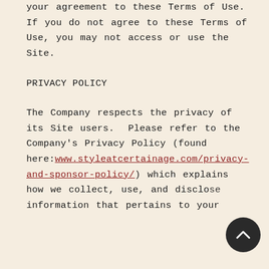your agreement to these Terms of Use. If you do not agree to these Terms of Use, you may not access or use the Site.
PRIVACY POLICY
The Company respects the privacy of its Site users. Please refer to the Company's Privacy Policy (found here:www.styleatcertainage.com/privacy-and-sponsor-policy/) which explains how we collect, use, and disclose information that pertains to your